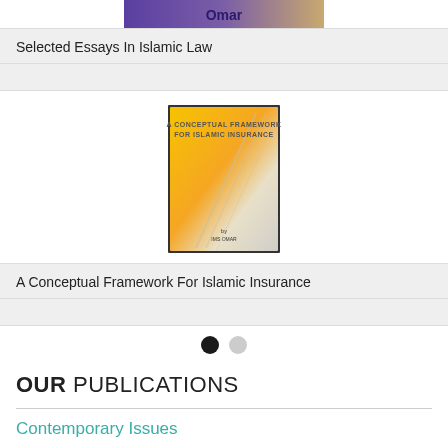[Figure (photo): Book cover image partially visible at top showing 'Omar' text]
Selected Essays In Islamic Law
[Figure (photo): Book cover: A Conceptual Framework For Islamic Insurance, yellow/orange gradient cover with 'by IMS OMAR' text at bottom]
A Conceptual Framework For Islamic Insurance
[Figure (infographic): Two navigation dots: one filled black, one light gray]
OUR PUBLICATIONS
Contemporary Issues
Family Law